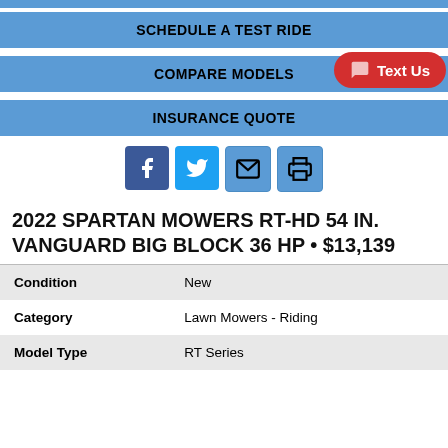SCHEDULE A TEST RIDE
COMPARE MODELS
INSURANCE QUOTE
[Figure (infographic): Social media icons row: Facebook, Twitter, Email, Print]
2022 SPARTAN MOWERS RT-HD 54 IN. VANGUARD BIG BLOCK 36 HP • $13,139
| Condition | New |
| Category | Lawn Mowers - Riding |
| Model Type | RT Series |